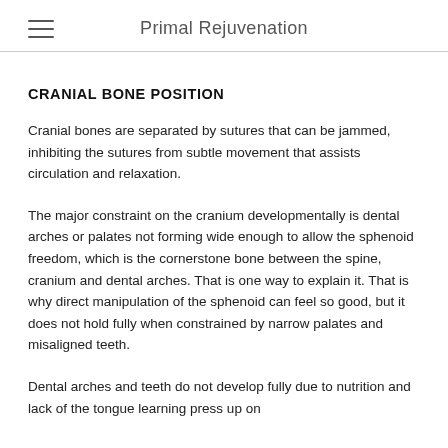Primal Rejuvenation
CRANIAL BONE POSITION
Cranial bones are separated by sutures that can be jammed, inhibiting the sutures from subtle movement that assists circulation and relaxation.
The major constraint on the cranium developmentally is dental arches or palates not forming wide enough to allow the sphenoid freedom, which is the cornerstone bone between the spine, cranium and dental arches. That is one way to explain it. That is why direct manipulation of the sphenoid can feel so good, but it does not hold fully when constrained by narrow palates and misaligned teeth.
Dental arches and teeth do not develop fully due to nutrition and lack of the tongue learning press up on